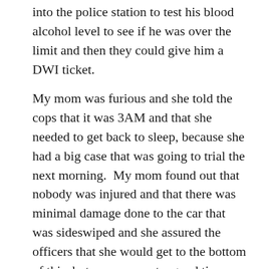into the police station to test his blood alcohol level to see if he was over the limit and then they could give him a DWI ticket.
My mom was furious and she told the cops that it was 3AM and that she needed to get back to sleep, because she had a big case that was going to trial the next morning.  My mom found out that nobody was injured and that there was minimal damage done to the car that was sideswiped and she assured the officers that she would get to the bottom of this, but now was not a good time.  She told the police officers that blood alcohol levels will continue to rise even after somebody has passed out and that her son has been in bed sleeping for the past 2 hours, so what ever level that found on him she would have it overturned, as she knew all of the judges in town and the police commissioner and